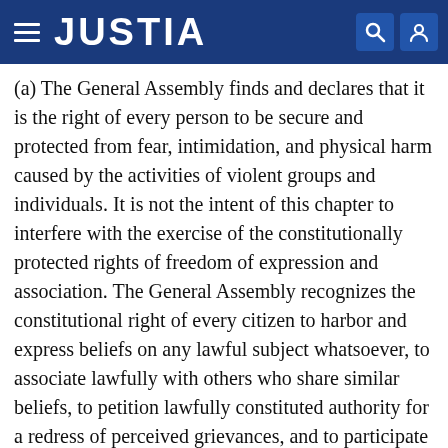JUSTIA
(a) The General Assembly finds and declares that it is the right of every person to be secure and protected from fear, intimidation, and physical harm caused by the activities of violent groups and individuals. It is not the intent of this chapter to interfere with the exercise of the constitutionally protected rights of freedom of expression and association. The General Assembly recognizes the constitutional right of every citizen to harbor and express beliefs on any lawful subject whatsoever, to associate lawfully with others who share similar beliefs, to petition lawfully constituted authority for a redress of perceived grievances, and to participate in the electoral process.
(b) The General Assembly, however, further finds that the State of Georgia is in a state of crisis which has been caused by violent criminal street gangs whose members